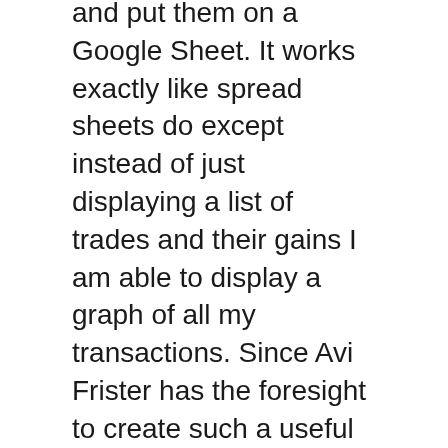and put them on a Google Sheet. It works exactly like spread sheets do except instead of just displaying a list of trades and their gains I am able to display a graph of all my transactions. Since Avi Frister has the foresight to create such a useful service, I now always have at least one currency trading tip, or a hot entry in my Google Sheet.
If you are still not using spread sheets or want to diversify your trading portfolio then I highly recommend you consider the news and analysis articles posted by Google Finance, Yahoo Finance, Marketwired and others. These services often times update daily with interesting news articles related to currency trading, stock trading, bonds